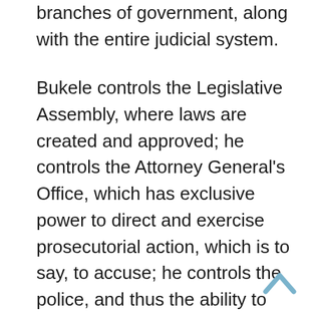branches of government, along with the entire judicial system.
Bukele controls the Legislative Assembly, where laws are created and approved; he controls the Attorney General's Office, which has exclusive power to direct and exercise prosecutorial action, which is to say, to accuse; he controls the police, and thus the ability to carry out arrests; he controls the Supreme Court of Justice; and now, with the reforms to the Law of Judicial Careers, he will control the country's judges.
For the...